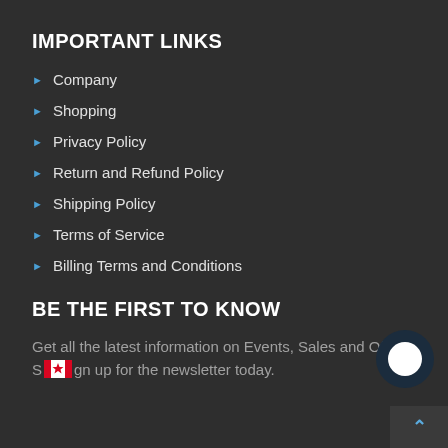IMPORTANT LINKS
Company
Shopping
Privacy Policy
Return and Refund Policy
Shipping Policy
Terms of Service
Billing Terms and Conditions
BE THE FIRST TO KNOW
Get all the latest information on Events, Sales and Offers.
Sign up for the newsletter today.